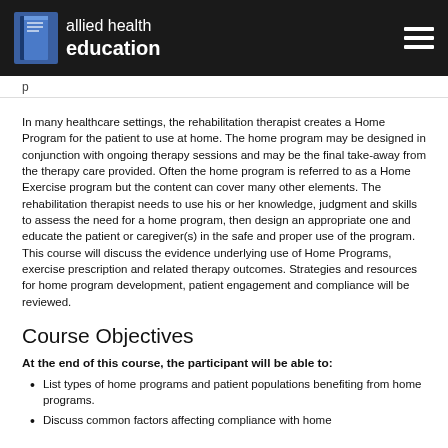allied health education
In many healthcare settings, the rehabilitation therapist creates a Home Program for the patient to use at home. The home program may be designed in conjunction with ongoing therapy sessions and may be the final take-away from the therapy care provided. Often the home program is referred to as a Home Exercise program but the content can cover many other elements. The rehabilitation therapist needs to use his or her knowledge, judgment and skills to assess the need for a home program, then design an appropriate one and educate the patient or caregiver(s) in the safe and proper use of the program.  This course will discuss the evidence underlying use of Home Programs, exercise prescription and related therapy outcomes. Strategies and resources for home program development, patient engagement and compliance will be reviewed.
Course Objectives
At the end of this course, the participant will be able to:
List types of home programs and patient populations benefiting from home programs.
Discuss common factors affecting compliance with home